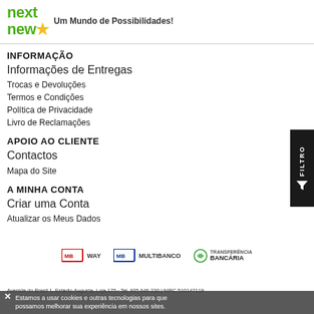[Figure (logo): nextnew star logo with tagline 'Um Mundo de Possibilidades!']
INFORMAÇÃO
Informações de Entregas
Trocas e Devoluções
Termos e Condições
Política de Privacidade
Livro de Reclamações
APOIO AO CLIENTE
Contactos
Mapa do Site
A MINHA CONTA
Criar uma Conta
Atualizar os Meus Dados
[Figure (logo): MB WAY, MULTIBANCO, and TRANSFERÊNCIA BANCÁRIA payment logos]
Avenida do Brasil 1, Estádio Augusta, Loja 175 · Tel. 935 646 230 | NIPC 510147119
Estamos a usar cookies e outras tecnologias para que possamos melhorar sua experiência em nossos sites.